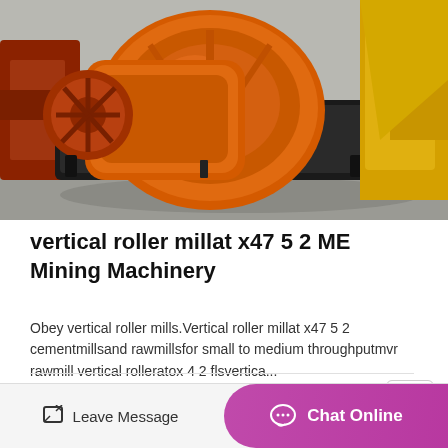[Figure (photo): Photo of an orange industrial vertical roller mill machine on a grey floor, with yellow machinery visible in the background]
vertical roller millat x47 5 2 ME Mining Machinery
Obey vertical roller mills.Vertical roller millat x47 5 2 cementmillsand rawmillsfor small to medium throughputmvr rawmill vertical rolleratox 4 2 flsvertica...
MORE DETAILS
Leave Message   Chat Online